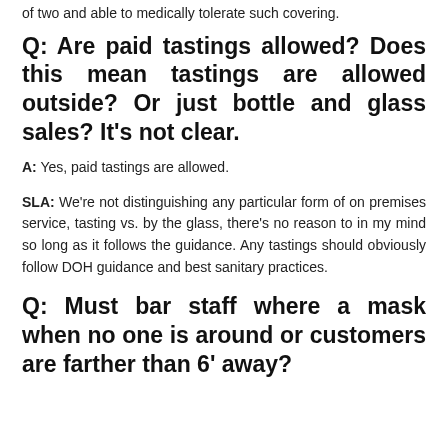of two and able to medically tolerate such covering.
Q: Are paid tastings allowed? Does this mean tastings are allowed outside? Or just bottle and glass sales? It’s not clear.
A: Yes, paid tastings are allowed.
SLA: We’re not distinguishing any particular form of on premises service, tasting vs. by the glass, there’s no reason to in my mind so long as it follows the guidance. Any tastings should obviously follow DOH guidance and best sanitary practices.
Q: Must bar staff where a mask when no one is around or customers are farther than 6’ away?